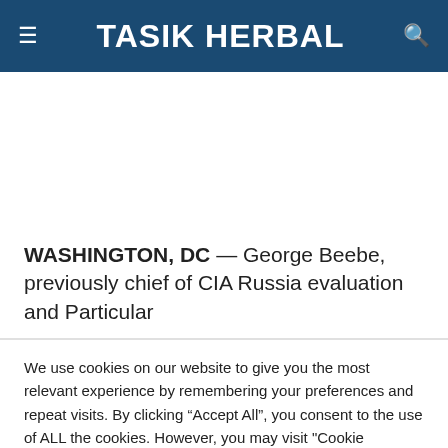TASIK HERBAL
WASHINGTON, DC — George Beebe, previously chief of CIA Russia evaluation and Particular
We use cookies on our website to give you the most relevant experience by remembering your preferences and repeat visits. By clicking "Accept All", you consent to the use of ALL the cookies. However, you may visit "Cookie Settings" to provide a controlled consent.